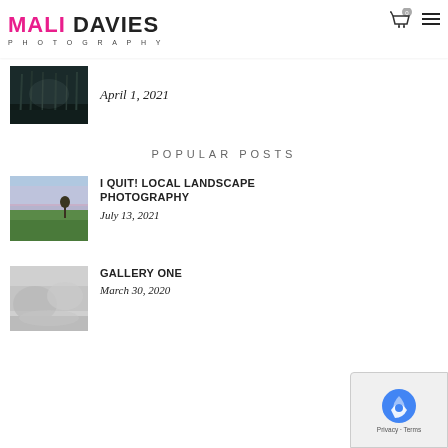MALI DAVIES PHOTOGRAPHY
[Figure (photo): Dark moody forest with bare trees]
April 1, 2021
POPULAR POSTS
[Figure (photo): Landscape at dusk with lone tree and green field]
I QUIT! LOCAL LANDSCAPE PHOTOGRAPHY
July 13, 2021
[Figure (photo): Abstract blurred water/clouds in grey tones]
GALLERY ONE
March 30, 2020